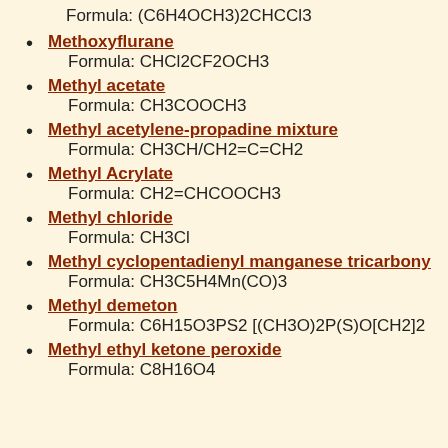Formula: (C6H4OCH3)2CHCCl3
Methoxyflurane
Formula: CHCl2CF2OCH3
Methyl acetate
Formula: CH3COOCH3
Methyl acetylene-propadine mixture
Formula: CH3CH/CH2=C=CH2
Methyl Acrylate
Formula: CH2=CHCOOCH3
Methyl chloride
Formula: CH3Cl
Methyl cyclopentadienyl manganese tricarbonyl
Formula: CH3C5H4Mn(CO)3
Methyl demeton
Formula: C6H15O3PS2 [(CH3O)2P(S)O[CH2]2
Methyl ethyl ketone peroxide
Formula: C8H16O4